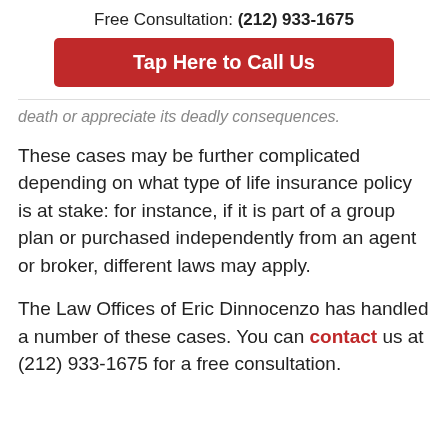Free Consultation: (212) 933-1675
Tap Here to Call Us
death or appreciate its deadly consequences.
These cases may be further complicated depending on what type of life insurance policy is at stake: for instance, if it is part of a group plan or purchased independently from an agent or broker, different laws may apply.
The Law Offices of Eric Dinnocenzo has handled a number of these cases. You can contact us at (212) 933-1675 for a free consultation.